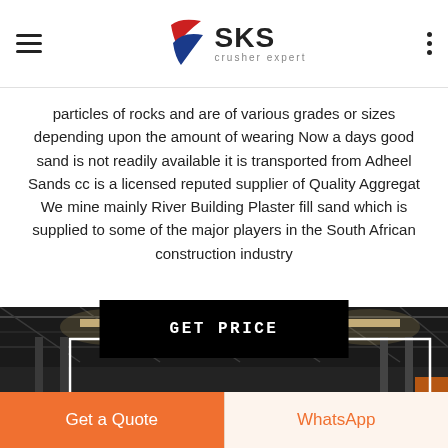SKS crusher expert
particles of rocks and are of various grades or sizes depending upon the amount of wearing Now a days good sand is not readily available it is transported from Adheel Sands cc is a licensed reputed supplier of Quality Aggregat We mine mainly River Building Plaster fill sand which is supplied to some of the major players in the South African construction industry
[Figure (other): Black button with white bold text reading GET PRICE]
[Figure (photo): Interior of an industrial warehouse with steel roof trusses and overhead lighting, dark industrial atmosphere, with a white rectangular outline overlay]
Get a Quote
WhatsApp